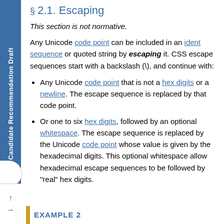§ 2.1. Escaping
This section is not normative.
Any Unicode code point can be included in an ident sequence or quoted string by escaping it. CSS escape sequences start with a backslash (\), and continue with:
Any Unicode code point that is not a hex digits or a newline. The escape sequence is replaced by that code point.
Or one to six hex digits, followed by an optional whitespace. The escape sequence is replaced by the Unicode code point whose value is given by the hexadecimal digits. This optional whitespace allow hexadecimal escape sequences to be followed by "real" hex digits.
EXAMPLE 2